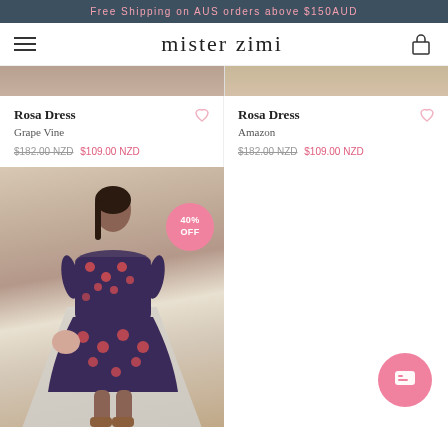Free Shipping on AUS orders above $150AUD
[Figure (screenshot): Mister Zimi e-commerce navigation bar with hamburger menu, logo, and cart icon]
[Figure (photo): Rosa Dress Grape Vine product photo - cropped bottom of image showing model]
Rosa Dress
Grape Vine
$182.00 NZD $109.00 NZD
[Figure (photo): Rosa Dress Amazon product photo - cropped bottom of image showing model]
Rosa Dress
Amazon
$182.00 NZD $109.00 NZD
[Figure (photo): Rosa Dress floral pattern dress on model standing on road with desert background, 40% OFF badge]